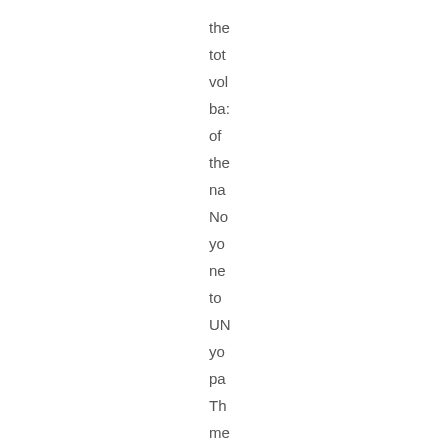the
tota
vol
ba:
of
the
na
No
yo
ne
to
UN
yo
pa
Th
me
yo